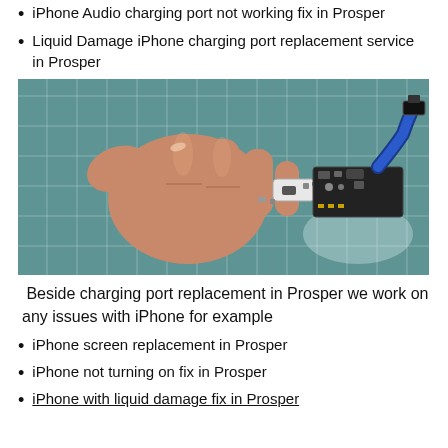iPhone Audio charging port not working fix in Prosper
Liquid Damage iPhone charging port replacement service in Prosper
[Figure (photo): A hand holding a small iPhone charging port flex cable component against a teal/green mosaic tile background. The component shows the lightning connector port with attached flex ribbon and circuitry.]
Beside charging port replacement in Prosper we work on any issues with iPhone for example
iPhone screen replacement in Prosper
iPhone not turning on fix in Prosper
iPhone with liquid damage fix in Prosper